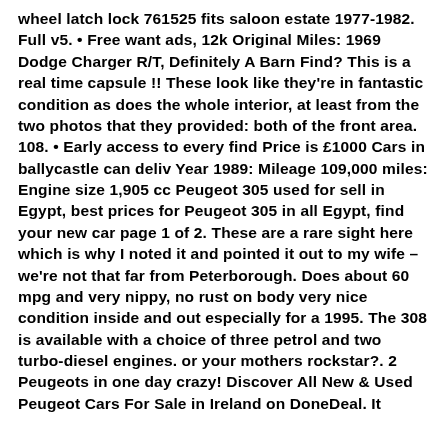wheel latch lock 761525 fits saloon estate 1977-1982. Full v5. • Free want ads, 12k Original Miles: 1969 Dodge Charger R/T, Definitely A Barn Find? This is a real time capsule !! These look like they're in fantastic condition as does the whole interior, at least from the two photos that they provided: both of the front area. 108. • Early access to every find Price is £1000 Cars in ballycastle can deliv Year 1989: Mileage 109,000 miles: Engine size 1,905 cc Peugeot 305 used for sell in Egypt, best prices for Peugeot 305 in all Egypt, find your new car page 1 of 2. These are a rare sight here which is why I noted it and pointed it out to my wife – we're not that far from Peterborough. Does about 60 mpg and very nippy, no rust on body very nice condition inside and out especially for a 1995. The 308 is available with a choice of three petrol and two turbo-diesel engines. or your mothers rockstar?. 2 Peugeots in one day crazy! Discover All New & Used Peugeot Cars For Sale in Ireland on DoneDeal. It